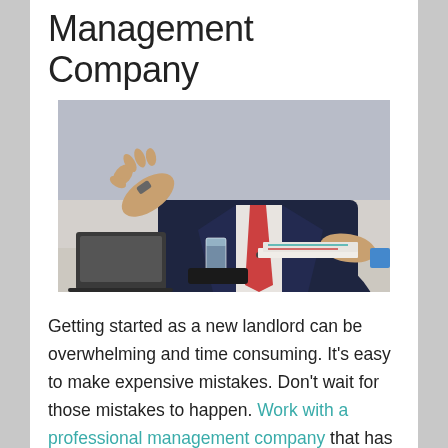Management Company
[Figure (photo): A businessman in a dark suit and red tie seated at a desk, gesturing with one hand, with a laptop and glass of water visible on the desk.]
Getting started as a new landlord can be overwhelming and time consuming. It’s easy to make expensive mistakes. Don’t wait for those mistakes to happen. Work with a professional management company that has the experience